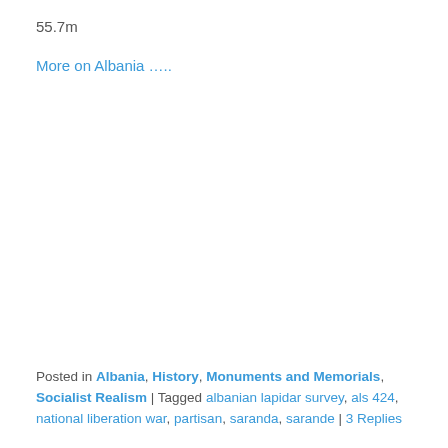55.7m
More on Albania …..
Posted in Albania, History, Monuments and Memorials, Socialist Realism | Tagged albanian lapidar survey, als 424, national liberation war, partisan, saranda, sarande | 3 Replies